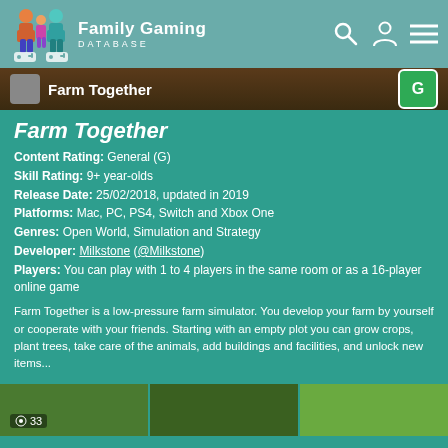Family Gaming DATABASE
[Figure (screenshot): Farm Together game banner with rating badge G (General)]
Farm Together
Content Rating: General (G)
Skill Rating: 9+ year-olds
Release Date: 25/02/2018, updated in 2019
Platforms: Mac, PC, PS4, Switch and Xbox One
Genres: Open World, Simulation and Strategy
Developer: Milkstone (@Milkstone)
Players: You can play with 1 to 4 players in the same room or as a 16-player online game
Farm Together is a low-pressure farm simulator. You develop your farm by yourself or cooperate with your friends. Starting with an empty plot you can grow crops, plant trees, take care of the animals, add buildings and facilities, and unlock new items...
[Figure (screenshot): Bottom strip showing game screenshots with count 33]